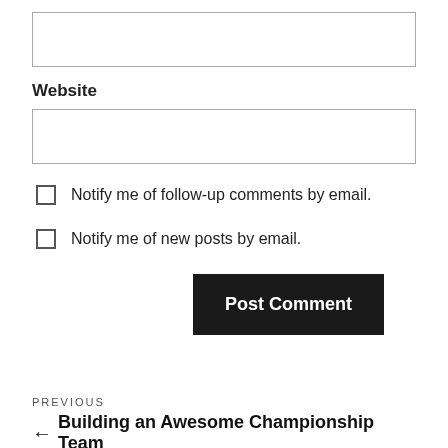[Figure (screenshot): Empty text input box at the top of the page]
Website
[Figure (screenshot): Empty text input box for website field]
Notify me of follow-up comments by email.
Notify me of new posts by email.
Post Comment
PREVIOUS
← Building an Awesome Championship Team